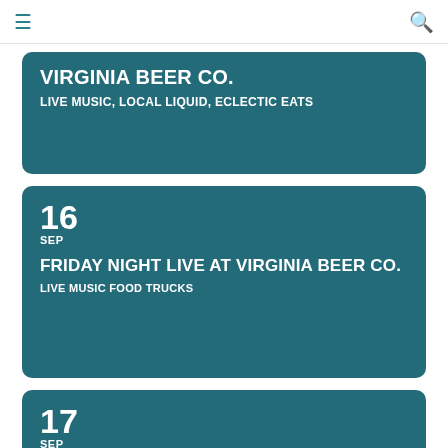≡ [menu] [search]
VIRGINIA BEER CO.
LIVE MUSIC, LOCAL LIQUID, ECLECTIC EATS
16 SEP
FRIDAY NIGHT LIVE AT VIRGINIA BEER CO.
LIVE MUSIC FOOD TRUCKS
17 SEP
SATURDAY BEERS, BEATS, & BITES